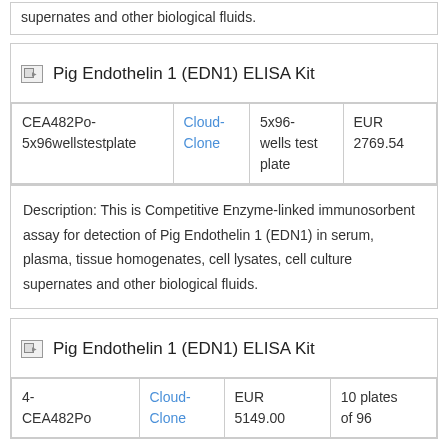supernates and other biological fluids.
Pig Endothelin 1 (EDN1) ELISA Kit
| Product ID | Vendor | Size | Price |
| --- | --- | --- | --- |
| CEA482Po-5x96wellstestplate | Cloud-Clone | 5x96-wells test plate | EUR 2769.54 |
Description: This is Competitive Enzyme-linked immunosorbent assay for detection of Pig Endothelin 1 (EDN1) in serum, plasma, tissue homogenates, cell lysates, cell culture supernates and other biological fluids.
Pig Endothelin 1 (EDN1) ELISA Kit
| Product ID | Vendor | Price | Size |
| --- | --- | --- | --- |
| 4-CEA482Po | Cloud-Clone | EUR 5149.00 | 10 plates of 96 |